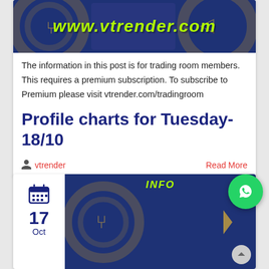[Figure (illustration): Dark blue banner with www.vtrender.com in yellow-green bold italic text, decorative shield/chart graphics in background]
The information in this post is for trading room members. This requires a premium subscription. To subscribe to Premium please visit vtrender.com/tradingroom
Profile charts for Tuesday-18/10
vtrender
Read More
[Figure (logo): WhatsApp logo green circle button]
[Figure (illustration): Second card partial view with calendar icon showing date 17 Oct, and blue banner with INFO text]
17
Oct